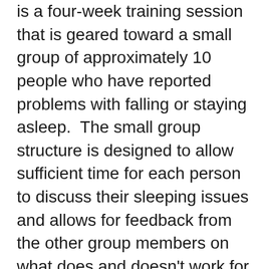is a four-week training session that is geared toward a small group of approximately 10 people who have reported problems with falling or staying asleep.  The small group structure is designed to allow sufficient time for each person to discuss their sleeping issues and allows for feedback from the other group members on what does and doesn't work for them.
“Treating a sleep problem early is important because fatigue can lead to decreased combat effectiveness.  Once poor sleep habits are engrained they are harder to treat,” Sargent explained.
Sargent educates participants in skills such